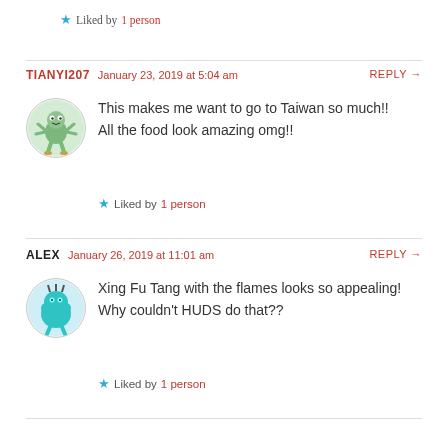Liked by 1 person
TIANYI207  January 23, 2019 at 5:04 am  REPLY →
[Figure (illustration): Cartoon avatar: a small green monster character with spiky arms and legs, on a light green circular background]
This makes me want to go to Taiwan so much!! All the food look amazing omg!!
Liked by 1 person
ALEX  January 26, 2019 at 11:01 am  REPLY →
[Figure (illustration): Cartoon avatar: a teal/cyan blob monster character on a light blue circular background]
Xing Fu Tang with the flames looks so appealing! Why couldn't HUDS do that??
Liked by 1 person